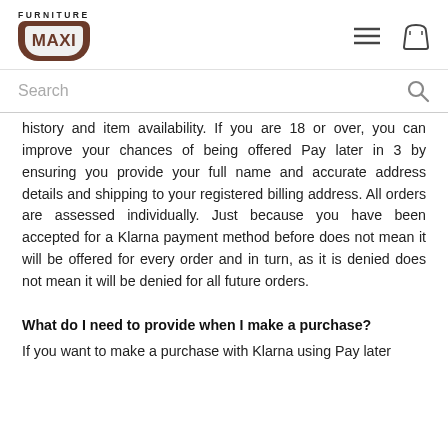[Figure (logo): Furniture Maxi logo with brown rounded rectangle and MAXI text]
Search
history and item availability. If you are 18 or over, you can improve your chances of being offered Pay later in 3 by ensuring you provide your full name and accurate address details and shipping to your registered billing address. All orders are assessed individually. Just because you have been accepted for a Klarna payment method before does not mean it will be offered for every order and in turn, as it is denied does not mean it will be denied for all future orders.
What do I need to provide when I make a purchase?
If you want to make a purchase with Klarna using Pay later